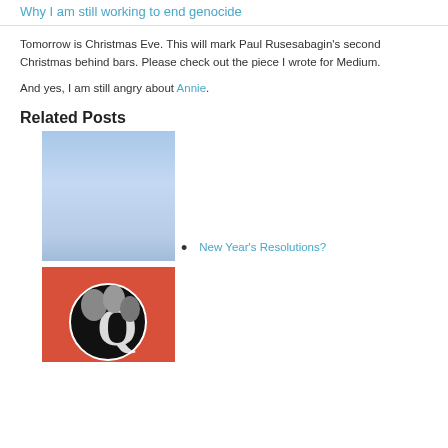Why I am still working to end genocide
Tomorrow is Christmas Eve. This will mark Paul Rusesabagin's second Christmas behind bars. Please check out the piece I wrote for Medium.
And yes, I am still angry about Annie.
Related Posts
[Figure (photo): Blue gradient rectangular image for a related post]
New Year’s Resolutions?
[Figure (photo): Red background image with circular Q logo and women photos]